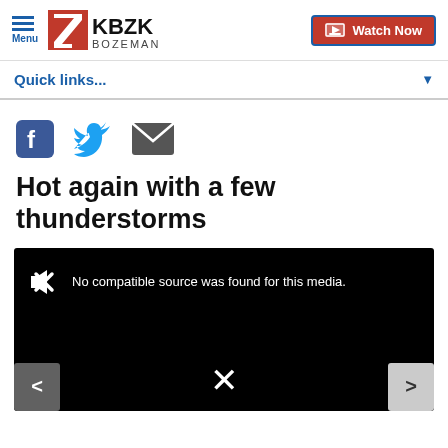Menu | KBZK BOZEMAN | Watch Now
Quick links...
[Figure (other): Social share icons: Facebook, Twitter, Email]
Hot again with a few thunderstorms
[Figure (screenshot): Video player showing error: No compatible source was found for this media. Navigation arrows left and right, close X button.]